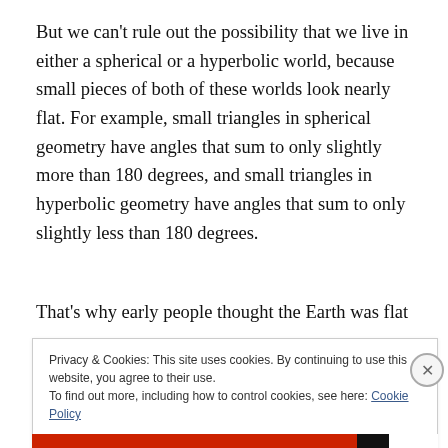But we can't rule out the possibility that we live in either a spherical or a hyperbolic world, because small pieces of both of these worlds look nearly flat. For example, small triangles in spherical geometry have angles that sum to only slightly more than 180 degrees, and small triangles in hyperbolic geometry have angles that sum to only slightly less than 180 degrees.
That's why early people thought the Earth was flat — on
Privacy & Cookies: This site uses cookies. By continuing to use this website, you agree to their use.
To find out more, including how to control cookies, see here: Cookie Policy